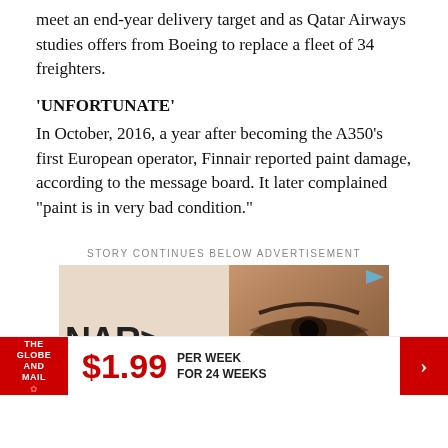meet an end-year delivery target and as Qatar Airways studies offers from Boeing to replace a fleet of 34 freighters.
‘UNFORTUNATE’
In October, 2016, a year after becoming the A350’s first European operator, Finnair reported paint damage, according to the message board. It later complained “paint is in very bad condition.”
STORY CONTINUES BELOW ADVERTISEMENT
[Figure (photo): NARS Natural Radiant advertisement showing cosmetics branding alongside a close-up of a person's eye/brow area]
[Figure (infographic): The Globe and Mail promotional subscription banner: $1.99 per week for 24 weeks]